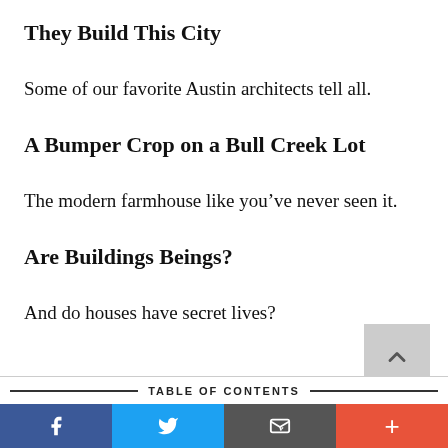They Build This City
Some of our favorite Austin architects tell all.
A Bumper Crop on a Bull Creek Lot
The modern farmhouse like you’ve never seen it.
Are Buildings Beings?
And do houses have secret lives?
TABLE OF CONTENTS